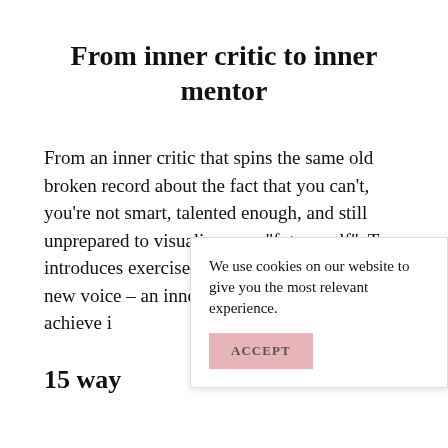From inner critic to inner mentor
From an inner critic that spins the same old broken record about the fact that you can’t, you’re not smart, talented enough, and still unprepared to visualize your “future self”. Tara introduces exercises that help us discover a new voice – an inner mentor that can help us achieve in
We use cookies on our website to give you the most relevant experience.
15 way